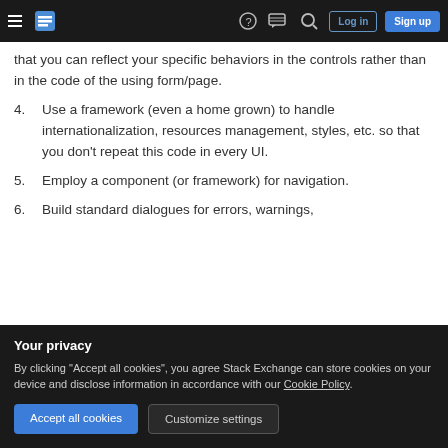Stack Exchange navigation bar with hamburger menu, logo, help, chat, search, log in, sign up
that you can reflect your specific behaviors in the controls rather than in the code of the using form/page.
4. Use a framework (even a home grown) to handle internationalization, resources management, styles, etc. so that you don't repeat this code in every UI.
5. Employ a component (or framework) for navigation.
6. Build standard dialogues for errors, warnings,
Your privacy
By clicking "Accept all cookies", you agree Stack Exchange can store cookies on your device and disclose information in accordance with our Cookie Policy.
Accept all cookies  Customize settings